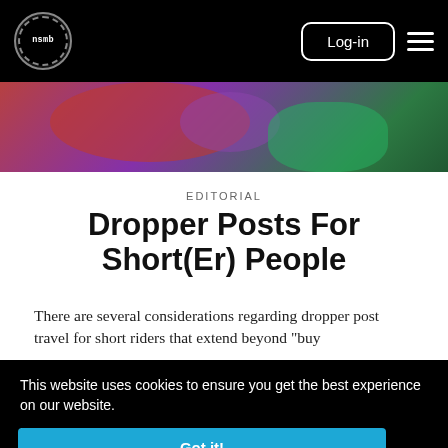nsmb Log-in
[Figure (photo): Partial view of a mountain bike with red, purple, and green components on grass background]
EDITORIAL
Dropper Posts For Short(Er) People
There are several considerations regarding dropper post travel for short riders that extend beyond "buy
This website uses cookies to ensure you get the best experience on our website.
Learn more
Got it!